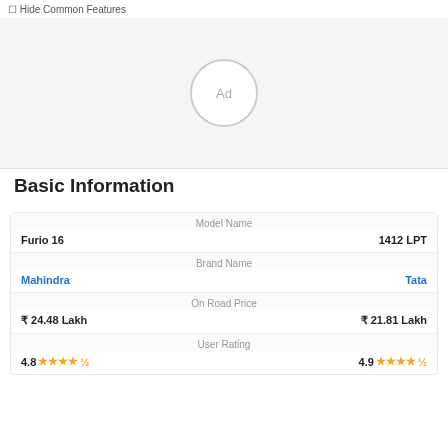Hide Common Features
[Figure (other): Ad placeholder circle with text 'Ad']
Basic Information
| Model Name |  |  |
| --- | --- | --- |
| Furio 16 |  | 1412 LPT |
| Brand Name |  |  |
| Mahindra |  | Tata |
| On Road Price |  |  |
| ₹ 24.48 Lakh |  | ₹ 21.81 Lakh |
| User Rating |  |  |
| 4.8 ★★★★½ |  | 4.9 ★★★★½ |